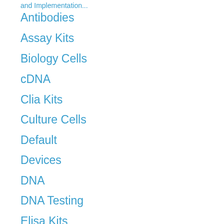and Implementation...
Antibodies
Assay Kits
Biology Cells
cDNA
Clia Kits
Culture Cells
Default
Devices
DNA
DNA Testing
Elisa Kits
Enzymes
Equipments
Exosomes
G...